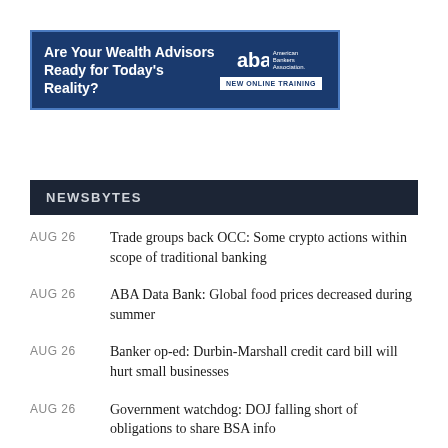[Figure (infographic): Blue banner advertisement: 'Are Your Wealth Advisors Ready for Today's Reality?' with American Bankers Association logo and 'NEW ONLINE TRAINING' button]
NEWSBYTES
AUG 26 — Trade groups back OCC: Some crypto actions within scope of traditional banking
AUG 26 — ABA Data Bank: Global food prices decreased during summer
AUG 26 — Banker op-ed: Durbin-Marshall credit card bill will hurt small businesses
AUG 26 — Government watchdog: DOJ falling short of obligations to share BSA info